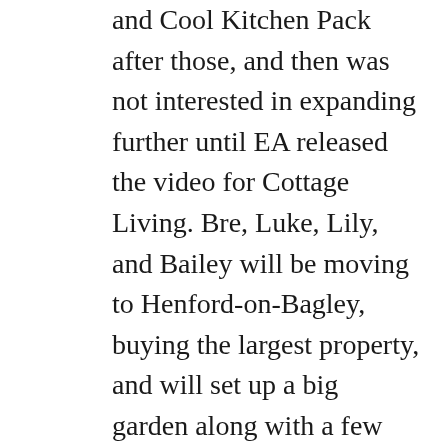and Cool Kitchen Pack after those, and then was not interested in expanding further until EA released the video for Cottage Living. Bre, Luke, Lily, and Bailey will be moving to Henford-on-Bagley, buying the largest property, and will set up a big garden along with a few cows, a llama, and some chickens. I can't wait for Bre to enter some produce and pies into the Finchwick Fair (did I mention that she is a level 10 cook even in gourmet meals now? Yeah baby! Note: if you have parties or weddings, it's seriously worth the Luxury Pack because you can click on tables and just buy prepared food as the party is about to start without the hours of cooking – just don't forget to actually bake the cake for birthdays and weddings!). I'm not sure if I'll have Luke continue gaming or if he's going to retire to farm